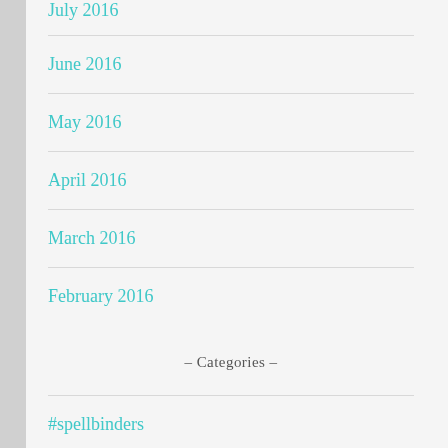July 2016
June 2016
May 2016
April 2016
March 2016
February 2016
- Categories -
#spellbinders
10 Cards, 1Kit